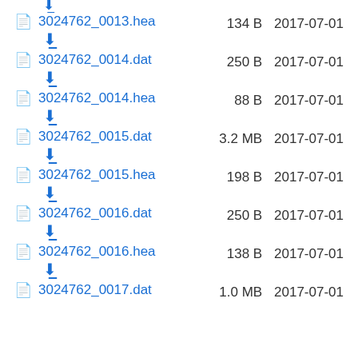3024762_0013.hea  134 B  2017-07-01
3024762_0014.dat  250 B  2017-07-01
3024762_0014.hea  88 B  2017-07-01
3024762_0015.dat  3.2 MB  2017-07-01
3024762_0015.hea  198 B  2017-07-01
3024762_0016.dat  250 B  2017-07-01
3024762_0016.hea  138 B  2017-07-01
3024762_0017.dat  1.0 MB  2017-07-01